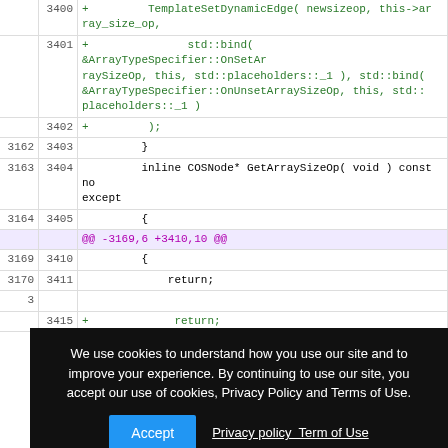| old | new | code |
| --- | --- | --- |
|  | 3400 | +        TemplateSetDynamicEdge( newsizeop, this->ar
        ray_size_op, |
|  | 3401 | +              std::bind( &ArrayTypeSpecifier::OnSetAr
        raySizeOp, this, std::placeholders::_1 ), std::bind(
        &ArrayTypeSpecifier::OnUnsetArraySizeOp, this, std::
        placeholders::_1 ) |
|  | 3402 | +        ); |
| 3162 | 3403 |     } |
| 3163 | 3404 |     inline COSNode* GetArraySizeOp( void ) const no
    except |
| 3164 | 3405 |     { |
|  |  | @@ -3169,6 +3410,10 @@ |
| 3169 | 3410 |     { |
| 3170 | 3411 |         return; |
| 3 |  |  |
|  | 3415 | +        return; |
We use cookies to understand how you use our site and to improve your experience. By continuing to use our site, you accept our use of cookies, Privacy Policy and Terms of Use.
Accept  Privacy policy  Term of Use